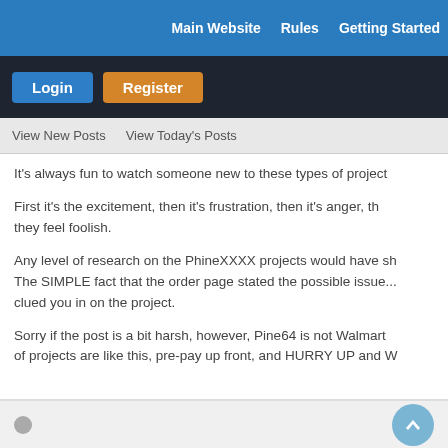Main Website | Rules | Getting Started
Login | Register
View New Posts   View Today's Posts
It's always fun to watch someone new to these types of projects...
First it's the excitement, then it's frustration, then it's anger, then they feel foolish.
Any level of research on the PhineXXXX projects would have sh... The SIMPLE fact that the order page stated the possible issue... clued you in on the project.
Sorry if the post is a bit harsh, however, Pine64 is not Walmart... of projects are like this, pre-pay up front, and HURRY UP and W...